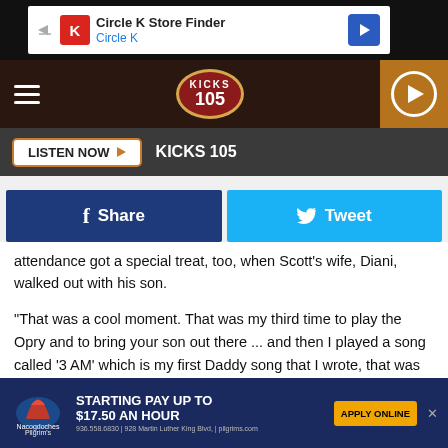[Figure (screenshot): Circle K Store Finder advertisement banner with Circle K logo and navigation arrow icon]
[Figure (logo): KICKS 105 radio station navigation bar with hamburger menu, oval logo, and play button]
[Figure (screenshot): Listen Now button bar with KICKS 105 label on dark background]
[Figure (screenshot): Facebook Share and Twitter Tweet social sharing buttons]
attendance got a special treat, too, when Scott's wife, Diani, walked out with his son.
"That was a cool moment. That was my third time to play the Opry and to bring your son out there ... and then I played a song called '3 AM' which is my first Daddy song that I wrote, that was really cool," he recalls.
[Figure (screenshot): Pilgrim's Pride job ad: Starting Pay Up To $17.50 AN HOUR, Apply Online, 936.558.6830 | 928 Martin Luther King Blvd, | pilgrims.com]